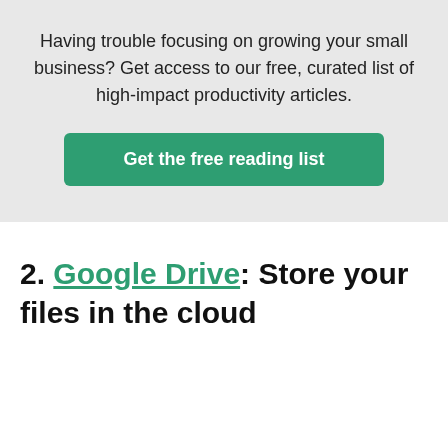Having trouble focusing on growing your small business? Get access to our free, curated list of high-impact productivity articles.
[Figure (other): Green call-to-action button with text 'Get the free reading list']
2. Google Drive: Store your files in the cloud